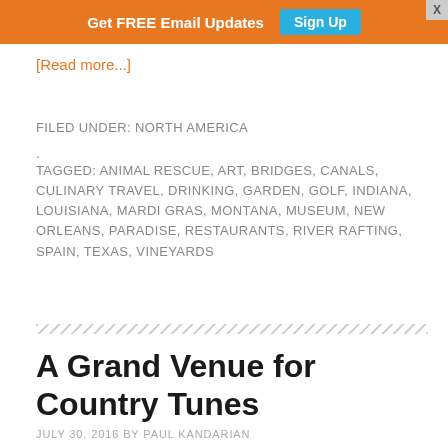Get FREE Email Updates  Sign Up
[Read more...]
FILED UNDER: NORTH AMERICA
.
TAGGED: ANIMAL RESCUE, ART, BRIDGES, CANALS, CULINARY TRAVEL, DRINKING, GARDEN, GOLF, INDIANA, LOUISIANA, MARDI GRAS, MONTANA, MUSEUM, NEW ORLEANS, PARADISE, RESTAURANTS, RIVER RAFTING, SPAIN, TEXAS, VINEYARDS
A Grand Venue for Country Tunes
JULY 30, 2016 BY PAUL KANDARIAN